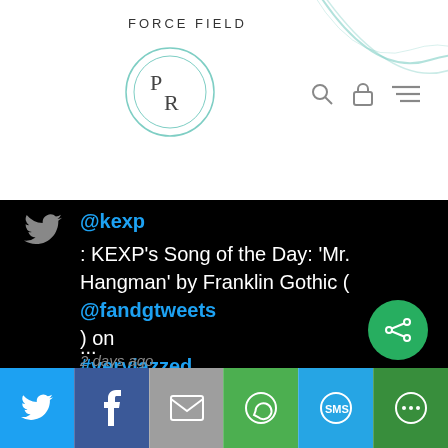FORCE FIELD
[Figure (logo): Circular logo with letters PR inside two concentric circles]
@kexp
: KEXP's Song of the Day: 'Mr. Hangman' by Franklin Gothic (
@fandgtweets
) on
#veryjazzed
(
@veryjazzed
). Listen here:
https://t.co/s
...
2 days ago